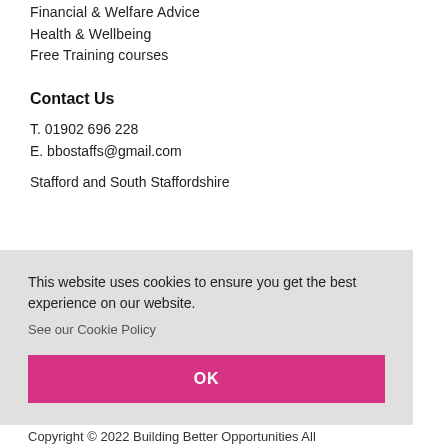Financial & Welfare Advice
Health & Wellbeing
Free Training courses
Contact Us
T. 01902 696 228
E. bbostaffs@gmail.com
Stafford and South Staffordshire
This website uses cookies to ensure you get the best experience on our website.
See our Cookie Policy
OK
Copyright © 2022 Building Better Opportunities All